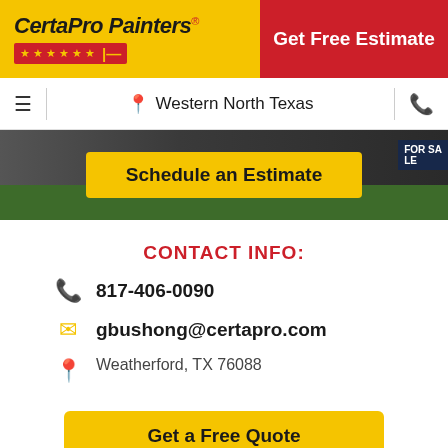CertaPro Painters® | Get Free Estimate
≡  Western North Texas  ☎
[Figure (screenshot): Hero banner with grass background showing a Schedule an Estimate button and FOR SALE sign]
CONTACT INFO:
817-406-0090
gbushong@certapro.com
Weatherford, TX 76088
Get a Free Quote
AREAS SERVED: